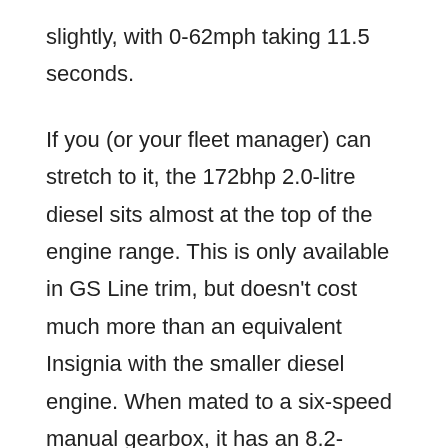slightly, with 0-62mph taking 11.5 seconds.
If you (or your fleet manager) can stretch to it, the 172bhp 2.0-litre diesel sits almost at the top of the engine range. This is only available in GS Line trim, but doesn't cost much more than an equivalent Insignia with the smaller diesel engine. When mated to a six-speed manual gearbox, it has an 8.2-second 0-62mph time and with its strong reserves of power it leads to effortless overtaking and is bound to appeal to those who spend a lot of time on the motorway. Go for the eight-speed automatic, and the 0-62mph dash takes a fraction longer at 8.4 seconds.